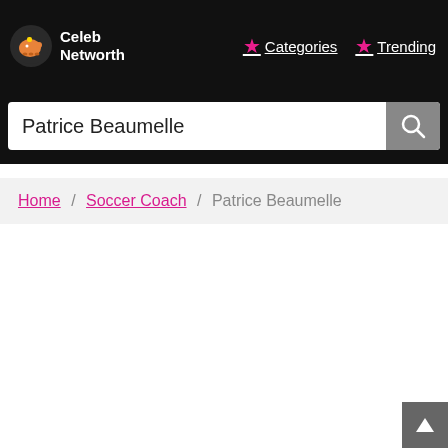Celeb Networth | Categories | Trending
Patrice Beaumelle
Home / Soccer Coach / Patrice Beaumelle